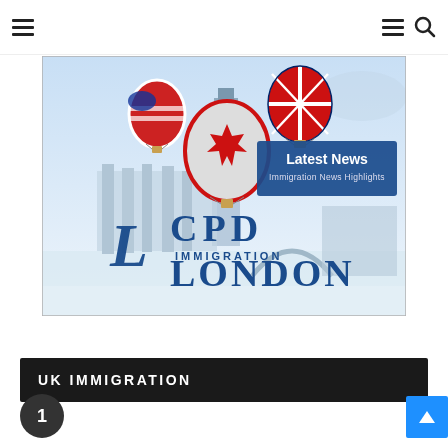≡  ≡ 🔍
[Figure (illustration): CPD Immigration London banner image featuring hot air balloons with US, UK, and Canada flags over a London skyline with Big Ben, with text 'Latest News — Immigration News Highlights' and 'L CPD Immigration London' logo]
UK IMMIGRATION
1